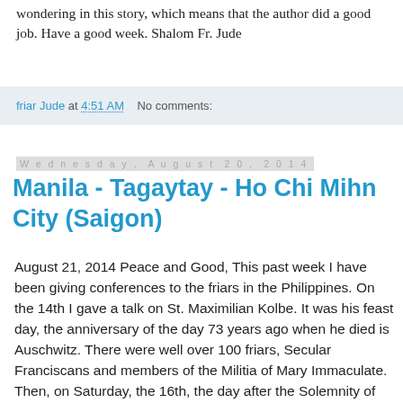wondering in this story, which means that the author did a good job. Have a good week. Shalom Fr. Jude
friar Jude at 4:51 AM   No comments:
Wednesday, August 20, 2014
Manila - Tagaytay - Ho Chi Mihn City (Saigon)
August 21, 2014 Peace and Good, This past week I have been giving conferences to the friars in the Philippines. On the 14th I gave a talk on St. Maximilian Kolbe. It was his feast day, the anniversary of the day 73 years ago when he died is Auschwitz. There were well over 100 friars, Secular Franciscans and members of the Militia of Mary Immaculate. Then, on Saturday, the 16th, the day after the Solemnity of the Assumption, I gave a talk to the friars and members of the Militia about the scriptural background of the dogma of the Assumption of Mary into heaven body and soul. There is not really a lot of direct proof for this dogma other than